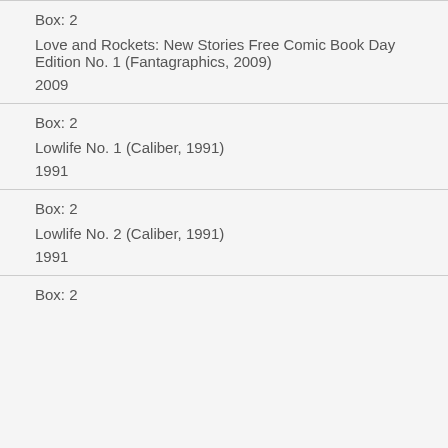Box: 2
Love and Rockets: New Stories Free Comic Book Day Edition No. 1 (Fantagraphics, 2009)
2009
Box: 2
Lowlife No. 1 (Caliber, 1991)
1991
Box: 2
Lowlife No. 2 (Caliber, 1991)
1991
Box: 2